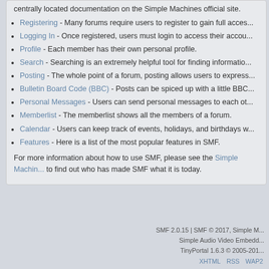centrally located documentation on the Simple Machines official site.
Registering - Many forums require users to register to gain full access...
Logging In - Once registered, users must login to access their account...
Profile - Each member has their own personal profile.
Search - Searching is an extremely helpful tool for finding information...
Posting - The whole point of a forum, posting allows users to express...
Bulletin Board Code (BBC) - Posts can be spiced up with a little BBC...
Personal Messages - Users can send personal messages to each other...
Memberlist - The memberlist shows all the members of a forum.
Calendar - Users can keep track of events, holidays, and birthdays w...
Features - Here is a list of the most popular features in SMF.
For more information about how to use SMF, please see the Simple Machines... to find out who has made SMF what it is today.
SMF 2.0.15 | SMF © 2017, Simple M... | Simple Audio Video Embedd... | TinyPortal 1.6.3 © 2005-201... | XHTML | RSS | WAP2